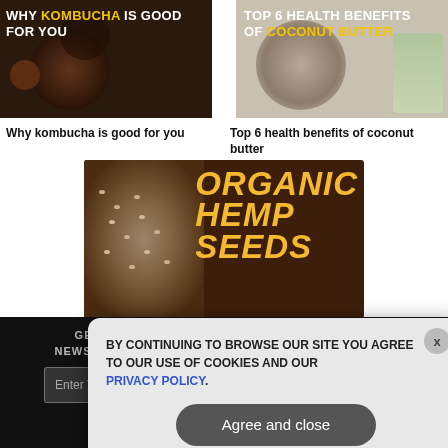[Figure (photo): Thumbnail image: Why kombucha is good for you — dark background with tea and spices, yellow highlighted text overlay]
Why kombucha is good for you
[Figure (photo): Thumbnail image: Top 6 health benefits of coconut butter — coconut and oils with yellow text overlay]
Top 6 health benefits of coconut butter
[Figure (photo): Organic Hemp Seeds promotional banner — dark brown background with hemp seeds on left, large orange italic text reading ORGANIC HEMP SEEDS on right]
GET THE MOST BIG DOSE INDEPENDENT MEDIA NEWSLETTER DELIVERED STRAIGHT TO YOUR INBOX.
BY CONTINUING TO BROWSE OUR SITE YOU AGREE TO OUR USE OF COOKIES AND OUR PRIVACY POLICY.
Agree and close